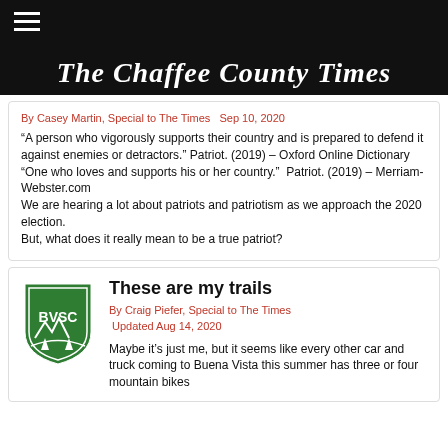The Chaffee County Times
By Casey Martin, Special to The Times  Sep 10, 2020
“A person who vigorously supports their country and is prepared to defend it against enemies or detractors.” Patriot. (2019) – Oxford Online Dictionary
“One who loves and supports his or her country.”  Patriot. (2019) – Merriam-Webster.com
We are hearing a lot about patriots and patriotism as we approach the 2020 election.
But, what does it really mean to be a true patriot?
These are my trails
By Craig Piefer, Special to The Times
Updated Aug 14, 2020
Maybe it’s just me, but it seems like every other car and truck coming to Buena Vista this summer has three or four mountain bikes